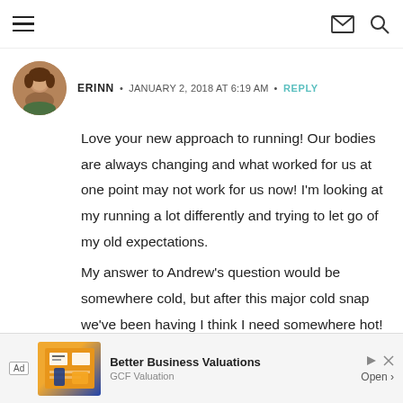Navigation bar with hamburger menu, envelope icon, and search icon
ERINN • JANUARY 2, 2018 AT 6:19 AM • REPLY
Love your new approach to running! Our bodies are always changing and what worked for us at one point may not work for us now! I'm looking at my running a lot differently and trying to let go of my old expectations.
My answer to Andrew's question would be somewhere cold, but after this major cold snap we've been having I think I need somewhere hot!
I got my ears pierced when I was 2…and I've had several piercings since!
[Figure (other): Advertisement banner: Better Business Valuations by GCF Valuation with Open button]